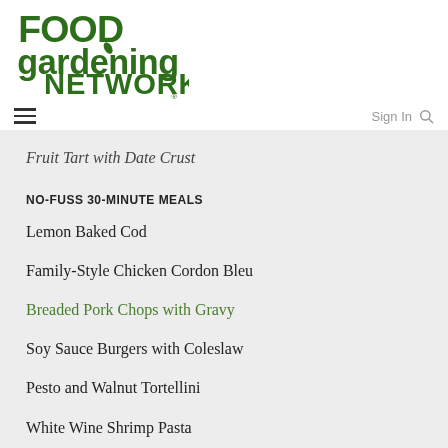[Figure (logo): Food Gardening Network logo in dark green bold serif/display font]
≡  Sign In 🔍
Fruit Tart with Date Crust
NO-FUSS 30-MINUTE MEALS
Lemon Baked Cod
Family-Style Chicken Cordon Bleu
Breaded Pork Chops with Gravy
Soy Sauce Burgers with Coleslaw
Pesto and Walnut Tortellini
White Wine Shrimp Pasta